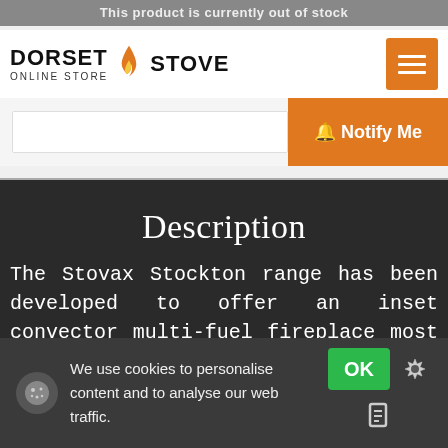This product is currently out of stock
[Figure (logo): Dorset Stove Online Store logo with flame icon]
If you would like us to notify you once available, enter your email address below.
Notify Me
Description
The Stovax Stockton range has been developed to offer an inset convector multi-fuel fireplace most of the heating advantages of a tanding Stockton stove. With its cleverly
We use cookies to personalise content and to analyse our web traffic.